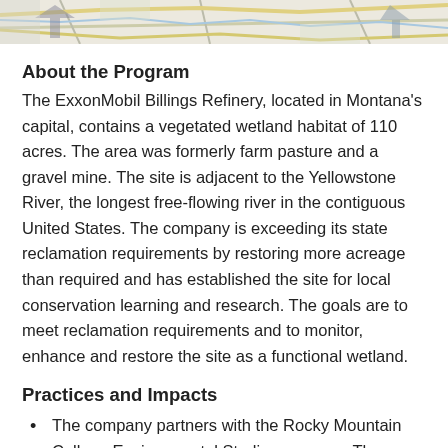[Figure (map): Partial view of a map strip showing road/geographic features in muted colors at the top of the page]
About the Program
The ExxonMobil Billings Refinery, located in Montana's capital, contains a vegetated wetland habitat of 110 acres. The area was formerly farm pasture and a gravel mine. The site is adjacent to the Yellowstone River, the longest free-flowing river in the contiguous United States. The company is exceeding its state reclamation requirements by restoring more acreage than required and has established the site for local conservation learning and research. The goals are to meet reclamation requirements and to monitor, enhance and restore the site as a functional wetland.
Practices and Impacts
The company partners with the Rocky Mountain College Environmental Studies program. The